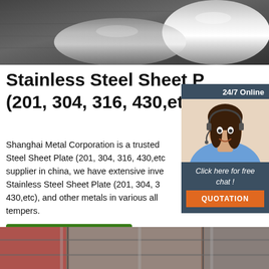[Figure (photo): Close-up of polished steel rods/cylinders on dark background]
Stainless Steel Sheet Plate (201, 304, 316, 430,etc)
Shanghai Metal Corporation is a trusted Stainless Steel Sheet Plate (201, 304, 316, 430,etc) supplier in china, we have extensive inventory of Stainless Steel Sheet Plate (201, 304, 316, 430,etc), and other metals in various alloys and tempers.
[Figure (photo): Chat widget with agent photo, 24/7 Online label, Click here for free chat, and QUOTATION button]
[Figure (photo): Factory interior / warehouse photo at bottom of page]
Get Price
TOP